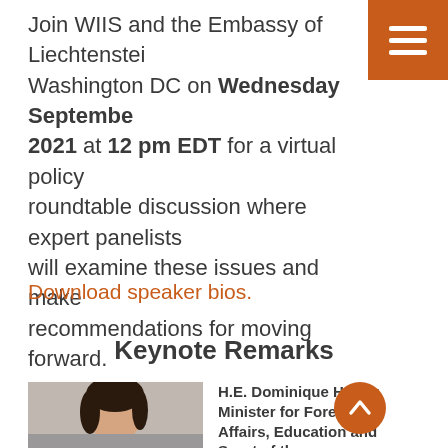Join WIIS and the Embassy of Liechtenstein Washington DC on Wednesday September 2021 at 12 pm EDT for a virtual policy roundtable discussion where expert panelists will examine these issues and make recommendations for moving forward.
Download speaker bios.
Keynote Remarks
[Figure (photo): Headshot photo of H.E. Dominique Hasler, a woman with dark hair]
H.E. Dominique Hasler, Minister for Foreign Affairs, Education and Sport of the Principality of Liechtenstein
Dominique Hasler is the